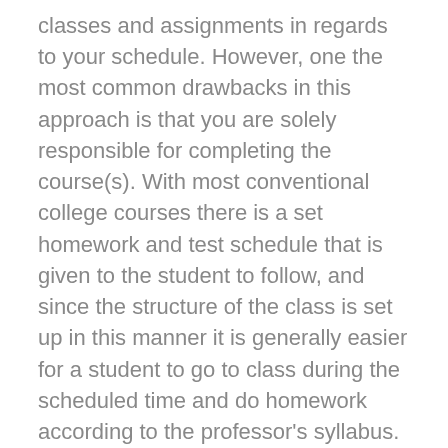classes and assignments in regards to your schedule. However, one the most common drawbacks in this approach is that you are solely responsible for completing the course(s). With most conventional college courses there is a set homework and test schedule that is given to the student to follow, and since the structure of the class is set up in this manner it is generally easier for a student to go to class during the scheduled time and do homework according to the professor's syllabus. Online courses do not work this way. There is no set class time, and although there is a syllabus with the coursework for the semester, there are no specific deadlines for completing the assignments albeit online courses must usually be completed within a certain time frame (i.e. one year from start date). Because online courses do not operate in this manner it is up to the